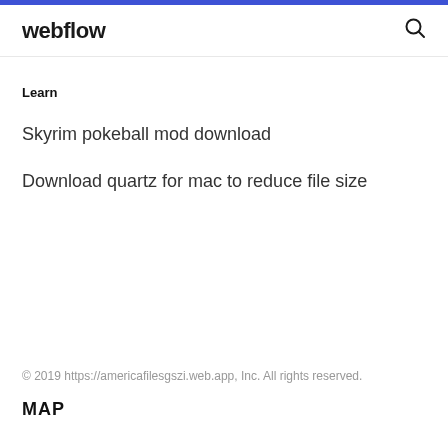webflow
Learn
Skyrim pokeball mod download
Download quartz for mac to reduce file size
© 2019 https://americafilesgszi.web.app, Inc. All rights reserved.
MAP